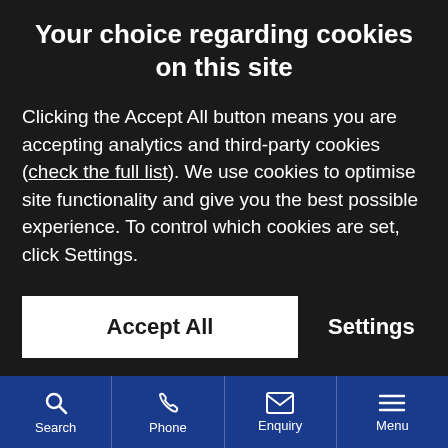Your choice regarding cookies on this site
Clicking the Accept All button means you are accepting analytics and third-party cookies (check the full list). We use cookies to optimise site functionality and give you the best possible experience. To control which cookies are set, click Settings.
Accept All | Settings
Search | Phone | Enquiry | Menu